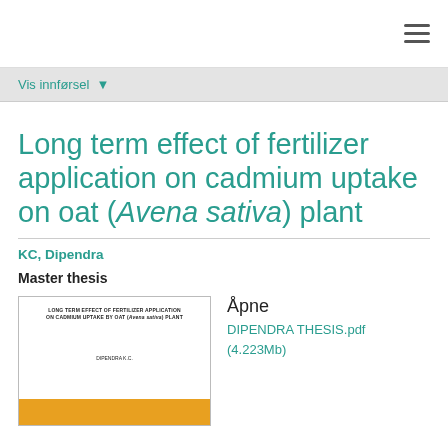≡
Vis innførsel ▾
Long term effect of fertilizer application on cadmium uptake on oat (Avena sativa) plant
KC, Dipendra
Master thesis
[Figure (photo): Thumbnail of thesis cover page with title 'LONG TERM EFFECT OF FERTILIZER APPLICATION ON CADMIUM UPTAKE BY OAT (Avena sativa) PLANT' and author 'DIPENDRA K.C.' with yellow/orange bottom bar.]
Åpne
DIPENDRA THESIS.pdf
(4.223Mb)